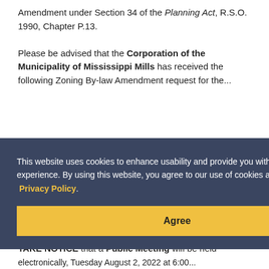Amendment under Section 34 of the Planning Act, R.S.O. 1990, Chapter P.13.
Please be advised that the Corporation of the Municipality of Mississippi Mills has received the following Zoning By-law Amendment request for the...
[Figure (screenshot): Cookie consent overlay on dark blue-grey background with text: 'This website uses cookies to enhance usability and provide you with a more personal experience. By using this website, you agree to our use of cookies as explained in our Privacy Policy.' with a yellow 'Agree' button]
Notice of a Public Hearing – Zoning By-law Amendment – Tuesday August 2, 2022 at 6:00 PM
Posted on Friday, July 1, 2022 01:10 PM
TAKE NOTICE that a Public Meeting will be held electronically, Tuesday August 2, 2022 at 6:00...